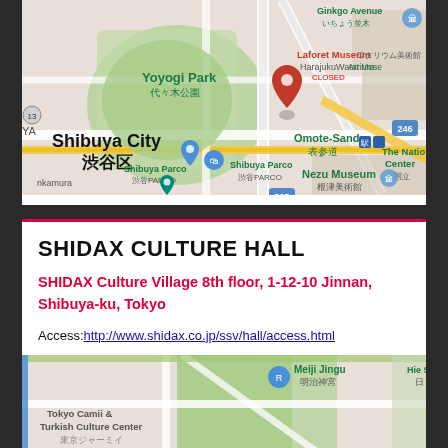[Figure (map): Google Maps screenshot showing Shibuya City area in Tokyo, Japan. Shows Yoyogi Park (代々木公園), Shibuya City (渋谷区), Laforet Museum Harajuku (CLOSED), Watarium Art Museum, Omote-Sando (表参道), Nezu Museum (根津美術館), Shibuya Parco (渋谷PARCO), Ginkgo Avenue (いちょう並木), The National Center (国立), with road markers 305 and 246. A red location pin is dropped near Harajuku.]
SHIDAX CULTURE HALL
SHIDAX Culture Village 8th floor, 1-12-10 Jinnan, Shibuya-ku, Tokyo
Access: http://www.shidax.co.jp/ssv/hall/access.html
[Figure (map): Google Maps screenshot showing area near Shidax Culture Hall, featuring Tokyo Camii & Turkish Culture Center (東京ジャーミイ), Meiji Jingu (明治神宮), and Hie Shrine (日枝神社 / Hie Shrine abbreviated as 'Hie Sh' and '日').]